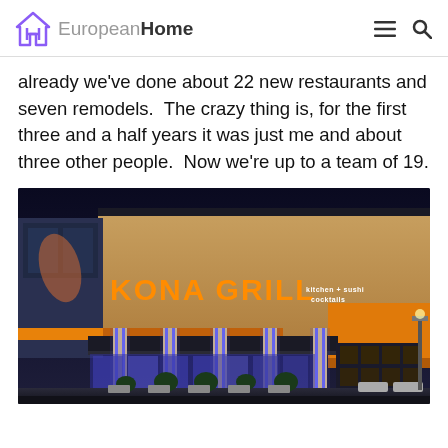EuropeanHome
already we've done about 22 new restaurants and seven remodels.  The crazy thing is, for the first three and a half years it was just me and about three other people.  Now we're up to a team of 19.
[Figure (photo): Exterior night photo of Kona Grill restaurant with illuminated orange signage reading 'KONA GRILL kitchen + sushi cocktails', blue accent lighting on pillars, and warm interior lighting visible through large windows.]